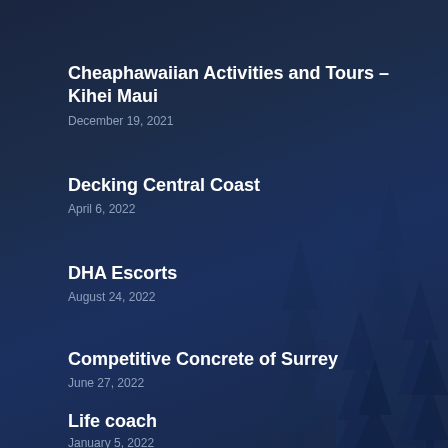Cheaphawaiian Activities and Tours – Kihei Maui
December 19, 2021
Decking Central Coast
April 6, 2022
DHA Escorts
August 24, 2022
Competitive Concrete of Surrey
June 27, 2022
Life coach
January 5, 2022